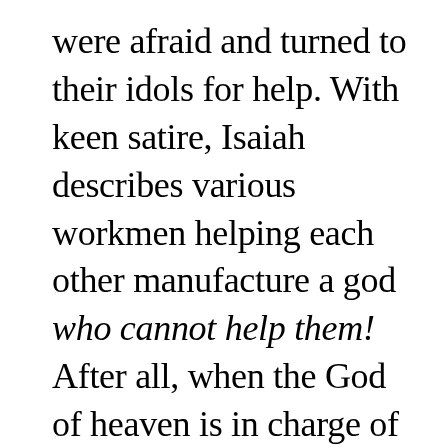were afraid and turned to their idols for help. With keen satire, Isaiah describes various workmen helping each other manufacture a god who cannot help them! After all, when the God of heaven is in charge of the conquest, how can men or gods oppose Him?